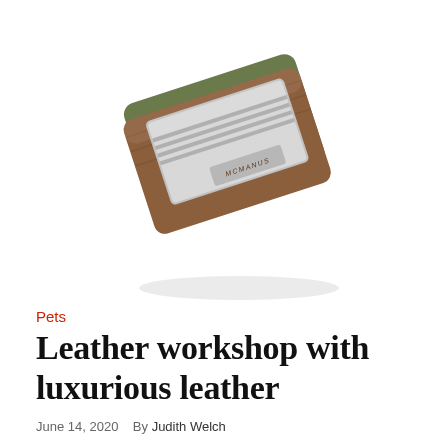[Figure (photo): Brown leather wallet/card holder with MCMANUS branding, slightly open showing silver card mechanism, on white background]
Pets
Leather workshop with luxurious leather
June 14, 2020   By Judith Welch
Spread the love
[Figure (infographic): Social media sharing icons row: Facebook (dark blue), Twitter (light blue), Reddit (orange-red), LinkedIn (dark blue), Pinterest (dark red), MeWe (teal), Mix (orange), WhatsApp (green), More/Share (gray). Below: bottom bar with same icons in rectangular colored buttons.]